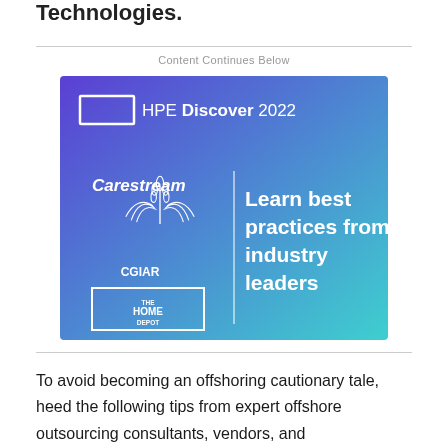Technologies.
Content Continues Below
[Figure (advertisement): HPE Discover 2022 advertisement banner with gradient purple-to-teal background, featuring logos of Carestream, CGIAR, and The Home Depot on the left, with text 'Learn best practices from industry leaders' on the right.]
To avoid becoming an offshoring cautionary tale, heed the following tips from expert offshore outsourcing consultants, vendors, and